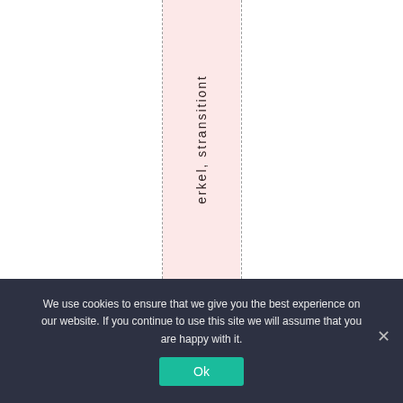erkel, stransitiont
We use cookies to ensure that we give you the best experience on our website. If you continue to use this site we will assume that you are happy with it. Ok